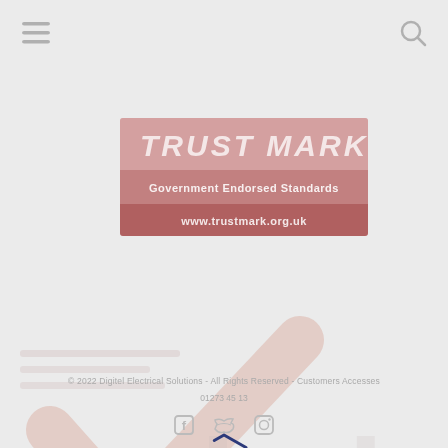[Figure (logo): Hamburger menu icon (three horizontal lines) at top left]
[Figure (logo): Search/magnifying glass icon at top right]
[Figure (logo): TrustMark Government Endorsed Standards logo banner with URL www.trustmark.org.uk]
[Figure (other): Large faded watermark background showing a checkmark tick and the word 'help' in pale pink/salmon tones]
[Figure (other): Hexagonal loading spinner in dark navy blue outline, centered on page]
© 2022 Digitel Electrical Solutions - All Rights Reserved - Customers Accesses
01273 45 13
[Figure (logo): Social media icons: Facebook, Twitter, Instagram in light grey]